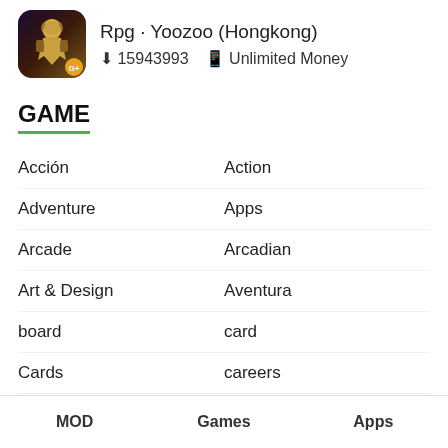[Figure (illustration): App icon for an RPG game by Yoozoo (Hongkong), showing a fantasy character with golden armor, with a small G+ badge in the bottom right corner.]
Rpg · Yoozoo (Hongkong)
⬇ 15943993   📱 Unlimited Money
GAME
Acción
Action
Adventure
Apps
Arcade
Arcadian
Art & Design
Aventura
board
card
Cards
careers
Carreras
Casino
Casual
Chess
Educational
Fighting
MOD   Games   Apps